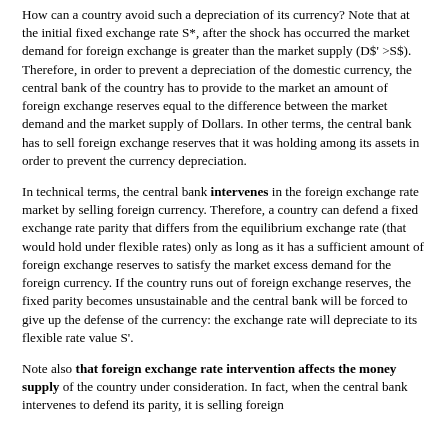How can a country avoid such a depreciation of its currency? Note that at the initial fixed exchange rate S*, after the shock has occurred the market demand for foreign exchange is greater than the market supply (D$' >S$). Therefore, in order to prevent a depreciation of the domestic currency, the central bank of the country has to provide to the market an amount of foreign exchange reserves equal to the difference between the market demand and the market supply of Dollars. In other terms, the central bank has to sell foreign exchange reserves that it was holding among its assets in order to prevent the currency depreciation.
In technical terms, the central bank intervenes in the foreign exchange rate market by selling foreign currency. Therefore, a country can defend a fixed exchange rate parity that differs from the equilibrium exchange rate (that would hold under flexible rates) only as long as it has a sufficient amount of foreign exchange reserves to satisfy the market excess demand for the foreign currency. If the country runs out of foreign exchange reserves, the fixed parity becomes unsustainable and the central bank will be forced to give up the defense of the currency: the exchange rate will depreciate to its flexible rate value S'.
Note also that foreign exchange rate intervention affects the money supply of the country under consideration. In fact, when the central bank intervenes to defend its parity, it is selling foreign